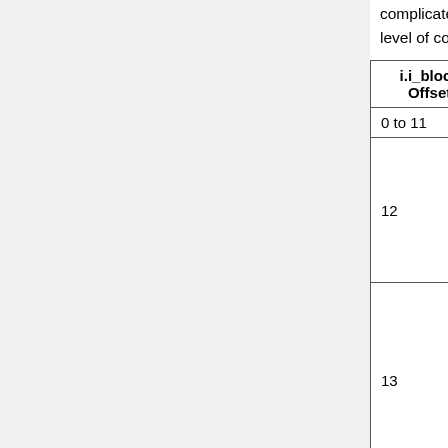complicated structure. Notice that there is neither a magic number nor a checksum to provide any level of confidence that the block isn't full of garbage.
| i.i_block Offset | Where It Points |
| --- | --- |
| 0 to 11 | Direct map to file blocks 0 to 11. |
| 12 | Indirect block: (file blocks 12 to ($block_size / 4) + 11, or 0 to 1035 if 4KiB blocks)
[nested: Indirect Block Offset | Where It Points]
[0 to ($block_size / 4) | Direct map to ($block_size / 4) file blocks if 4KiB blocks] |
| 13 | Double-indirect block: (file blocks $block_size ($block_size / 4) ^ 2 + ($block_size / 4) + 12-1 if 4KiB blocks)
[nested: Double Indirect Block Offset | Where It Points]
[nested: Map to ($block_size / 4) if 4KiB blocks | [Indirect Block ...]] |